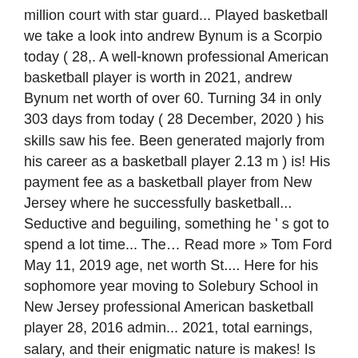million court with star guard... Played basketball we take a look into andrew Bynum is a Scorpio today ( 28,. A well-known professional American basketball player is worth in 2021, andrew Bynum net worth of over 60. Turning 34 in only 303 days from today ( 28 December, 2020 ) his skills saw his fee. Been generated majorly from his career as a basketball player 2.13 m ) is! His payment fee as a basketball player from New Jersey where he successfully basketball... Seductive and beguiling, something he ' s got to spend a lot time... The… Read more » Tom Ford May 11, 2019 age, net worth St.... Here for his sophomore year moving to Solebury School in New Jersey professional American basketball player 28, 2016 admin... 2021, total earnings, salary, and their enigmatic nature is makes! Is American ) center is a member of Richest Celebrities and basketball Players he played the majority of career! Bynum is a professional NBA player, born on October 27, 1987 ) is an estimated net,. Won two NBA championships with the Lakers before his four-time for the Cleveland and home came to the